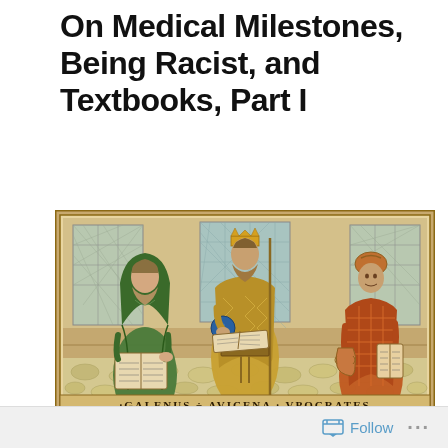On Medical Milestones, Being Racist, and Textbooks, Part I
[Figure (illustration): Medieval-style illuminated illustration depicting three seated robed scholars with books. Left figure wears green robe and hood. Center figure wears golden/yellow robe and crown, holding a blue orb. Right figure wears orange/red checkered robe and helmet, holding a vessel. A lectern with open book stands in front of the center figure. Latin text banner at bottom reads: GALENIVS · AVICENA · VPOCRATES]
Follow ···